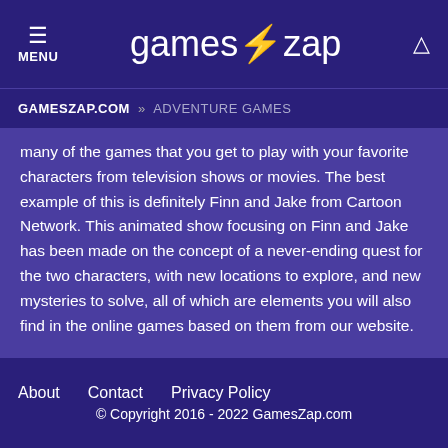MENU | gameszap | [search icon]
GAMESZAP.COM » ADVENTURE GAMES
many of the games that you get to play with your favorite characters from television shows or movies. The best example of this is definitely Finn and Jake from Cartoon Network. This animated show focusing on Finn and Jake has been made on the concept of a never-ending quest for the two characters, with new locations to explore, and new mysteries to solve, all of which are elements you will also find in the online games based on them from our website.
About   Contact   Privacy Policy
© Copyright 2016 - 2022 GamesZap.com